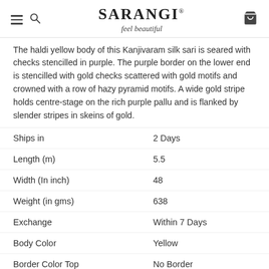SARANGI® feel beautiful
The haldi yellow body of this Kanjivaram silk sari is seared with checks stencilled in purple. The purple border on the lower end is stencilled with gold checks scattered with gold motifs and crowned with a row of hazy pyramid motifs. A wide gold stripe holds centre-stage on the rich purple pallu and is flanked by slender stripes in skeins of gold.
| Ships in | 2 Days |
| Length (m) | 5.5 |
| Width (In inch) | 48 |
| Weight (in gms) | 638 |
| Exchange | Within 7 Days |
| Body Color | Yellow |
| Border Color Top | No Border |
| Border Color Bottom | Purple |